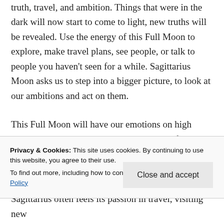truth, travel, and ambition. Things that were in the dark will now start to come to light, new truths will be revealed. Use the energy of this Full Moon to explore, make travel plans, see people, or talk to people you haven't seen for a while. Sagittarius Moon asks us to step into a bigger picture, to look at our ambitions and act on them.
This Full Moon will have our emotions on high alert, especially when it comes to matters of the heart. We will be feeling a little fragile at the moment so be kind
Privacy & Cookies: This site uses cookies. By continuing to use this website, you agree to their use. To find out more, including how to control cookies, see here: Cookie Policy
Close and accept
Sagittarius often feels its passion in travel, visiting new